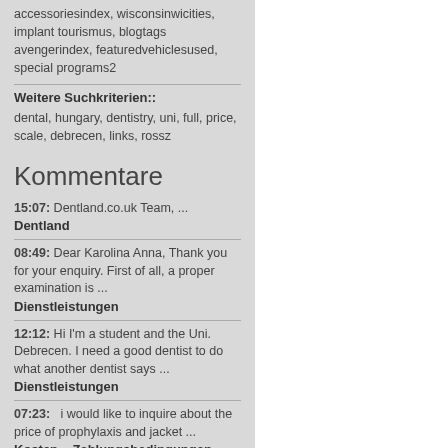accessoriesindex, wisconsinwicities, implant tourismus, blogtags avengerindex, featuredvehiclesused, special programs2
Weitere Suchkriterien::
dental, hungary, dentistry, uni, full, price, scale, debrecen, links, rossz
Kommentare
15:07: Dentland.co.uk Team, ...
Dentland
08:49: Dear Karolina Anna, Thank you for your enquiry. First of all, a proper examination is ...
Dienstleistungen
12:12: Hi I'm a student and the Uni. Debrecen. I need a good dentist to do what another dentist says ...
Dienstleistungen
07:23: i would like to inquire about the price of prophylaxis and jacket ...
Kosten – Zahlungsbedingungen, Zahlungsmethoden und Finanzierung
18:23: Thank you my friend! I'm glad hearing from you, hope everything is fine, especially your new metal ...
Dentland Zahnheilkunde - Dentland Zahnmedizin Ungarn